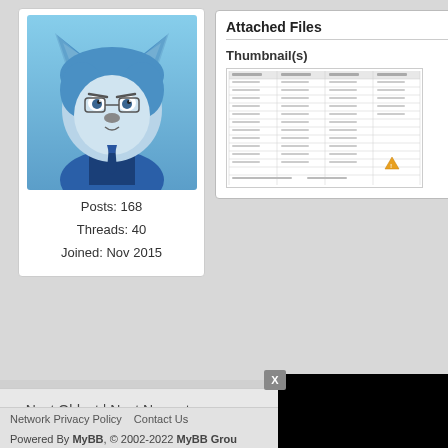[Figure (photo): Blue furry wolf/cat character plush avatar facing forward with blue fur and darker mane]
Posts: 168
Threads: 40
Joined: Nov 2015
Attached Files
Thumbnail(s)
[Figure (screenshot): Thumbnail image showing a spreadsheet or table document]
« Next Oldest | Next Newest »
View a Printable Version
Network Privacy Policy   Contact Us
Powered By MyBB, © 2002-2022 MyBB Grou